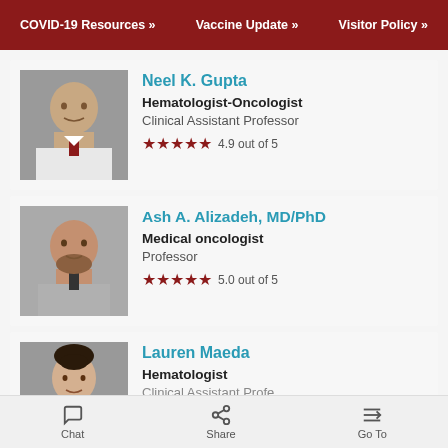COVID-19 Resources » | Vaccine Update » | Visitor Policy »
Neel K. Gupta
Hematologist-Oncologist
Clinical Assistant Professor
★★★★★ 4.9 out of 5
Ash A. Alizadeh, MD/PhD
Medical oncologist
Professor
★★★★★ 5.0 out of 5
Lauren Maeda
Hematologist
Clinical Assistant Professor